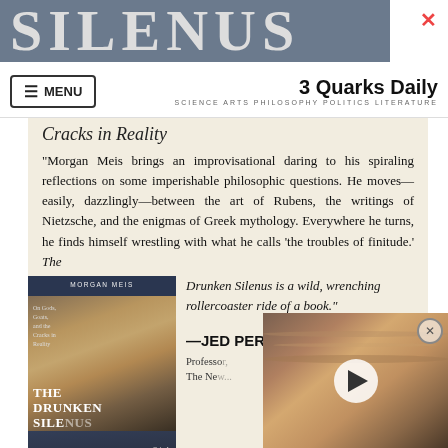SILENUS
3 Quarks Daily
SCIENCE ARTS PHILOSOPHY POLITICS LITERATURE
Cracks in Reality
“Morgan Meis brings an improvisational daring to his spiraling reflections on some imperishable philosophic questions. He moves—easily, dazzlingly—between the art of Rubens, the writings of Nietzsche, and the enigmas of Greek mythology. Everywhere he turns, he finds himself wrestling with what he calls ‘the troubles of finitude.’ The Drunken Silenus is a wild, wrenching rollercoaster ride of a book.”
[Figure (photo): Book cover of The Drunken Silenus by Morgan Meis, dark blue cover with classical painting detail, subtitle: On Gods, Goats, and the Cracks in Reality]
—JED PERL
Professor, The New...
[Figure (photo): Video overlay showing a planet (possibly Jupiter) with a play button, partially obscuring the lower right of the page]